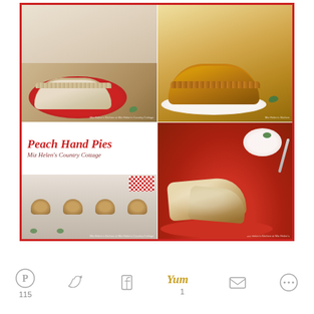[Figure (photo): Collage of four food photos showing Peach Hand Pies from Miz Helen's Country Cottage. Top-left: unbaked pie on red plate. Top-right: golden baked pie on white plate. Bottom-left: title card reading 'Peach Hand Pies / Miz Helen's Country Cottage' with mini round pies and checkered cloth below. Bottom-right: sliced peach hand pie with whipped cream on red plate.]
[Figure (infographic): Social media sharing bar with icons: Pinterest (115), Twitter, Facebook, Yummly (1), Email, More options]